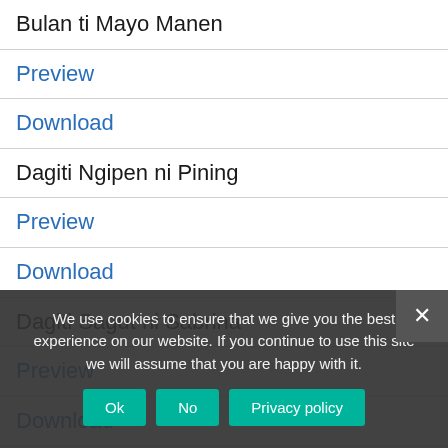Bulan ti Mayo Manen
Preview
Download
Dagiti Ngipen ni Pining
Preview
Download
Dagiti Sagut ni Sabrina
Preview
Download
Daniw Ti Radio ni Orlando
Preview
Download
We use cookies to ensure that we give you the best experience on our website. If you continue to use this site we will assume that you are happy with it.
Ok | No | Privacy policy